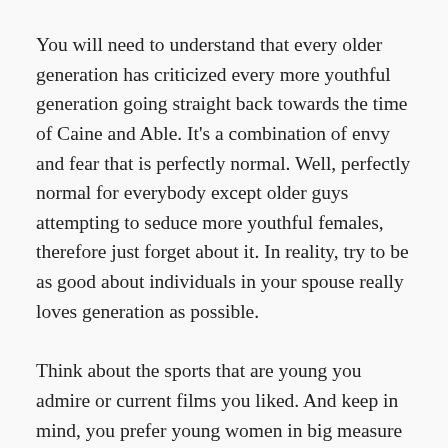You will need to understand that every older generation has criticized every more youthful generation going straight back towards the time of Caine and Able. It’s a combination of envy and fear that is perfectly normal. Well, perfectly normal for everybody except older guys attempting to seduce more youthful females, therefore just forget about it. In reality, try to be as good about individuals in your spouse really loves generation as possible.
Think about the sports that are young you admire or current films you liked. And keep in mind, you prefer young women in big measure so you need to try to be young at heart too because they are young. Usually do not criticize anybody inside her age bracket which